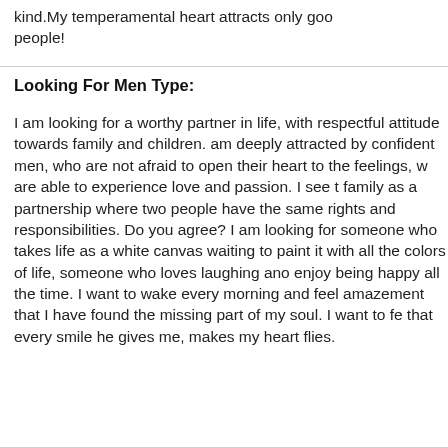kind.My temperamental heart attracts only good people!
Looking For Men Type:
I am looking for a worthy partner in life, with respectful attitude towards family and children. I am deeply attracted by confident men, who are not afraid to open their heart to the feelings, who are able to experience love and passion. I see the family as a partnership where two people have the same rights and responsibilities. Do you agree? I am looking for someone who takes life as a white canvas waiting to paint it with all the colors of life, someone who loves laughing and enjoy being happy all the time. I want to wake every morning and feel amazement that I have found the missing part of my soul. I want to feel that every smile he gives me, makes my heart flies.